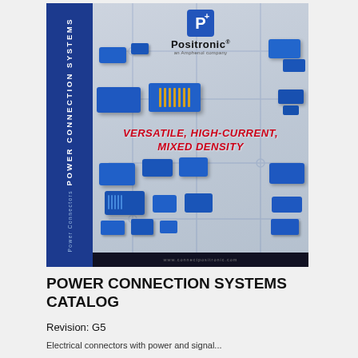[Figure (photo): Cover of Positronic Power Connection Systems Catalog (Catalog C-016 Rev. G5) showing multiple blue power connectors on a grey background with the text 'Versatile, High-Current, Mixed Density' in red italic lettering. Positronic logo (an Amphenol company) at top. Blue sidebar with rotated text 'Power Connection Systems / Power Connectors'. Bottom dark bar with website URL www.connectpositronic.com.]
POWER CONNECTION SYSTEMS CATALOG
Revision: G5
Electrical connectors with power and signal...